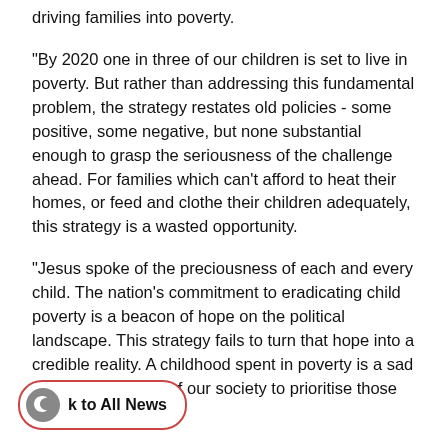driving families into poverty.
"By 2020 one in three of our children is set to live in poverty. But rather than addressing this fundamental problem, the strategy restates old policies - some positive, some negative, but none substantial enough to grasp the seriousness of the challenge ahead. For families which can't afford to heat their homes, or feed and clothe their children adequately, this strategy is a wasted opportunity.
"Jesus spoke of the preciousness of each and every child. The nation's commitment to eradicating child poverty is a beacon of hope on the political landscape. This strategy fails to turn that hope into a credible reality. A childhood spent in poverty is a sad and terrible failure of our society to prioritise those most vulnerable."
k to All News